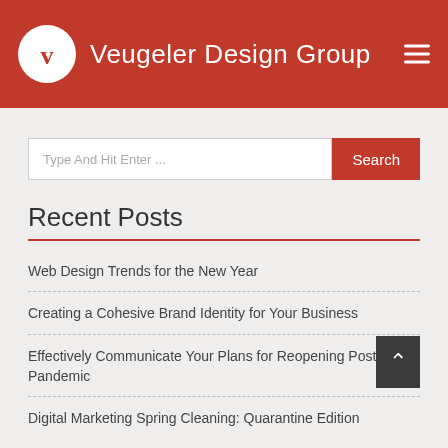Veugeler Design Group
Type And Hit Enter ...
Recent Posts
Web Design Trends for the New Year
Creating a Cohesive Brand Identity for Your Business
Effectively Communicate Your Plans for Reopening Post-Pandemic
Digital Marketing Spring Cleaning: Quarantine Edition